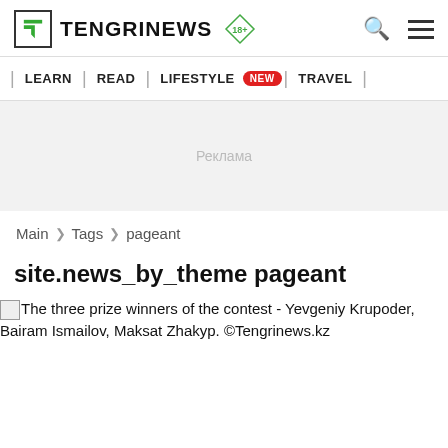TENGRINEWS 18+
| LEARN | READ | LIFESTYLE NEW | TRAVEL |
Реклама
Main > Tags > pageant
site.news_by_theme pageant
The three prize winners of the contest - Yevgeniy Krupoder, Bairam Ismailov, Maksat Zhаkyp. ©Tengrinews.kz